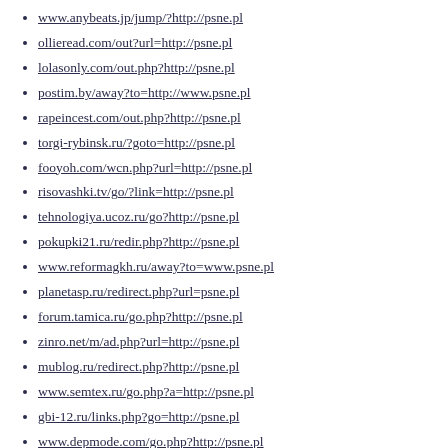www.anybeats.jp/jump/?http://psne.pl
ollieread.com/out?url=http://psne.pl
lolasonly.com/out.php?http://psne.pl
postim.by/away?to=http://www.psne.pl
rapeincest.com/out.php?http://psne.pl
torgi-rybinsk.ru/?goto=http://psne.pl
fooyoh.com/wcn.php?url=http://psne.pl
risovashki.tv/go/?link=http://psne.pl
tehnologiya.ucoz.ru/go?http://psne.pl
pokupki21.ru/redir.php?http://psne.pl
www.reformagkh.ru/away?to=www.psne.pl
planetasp.ru/redirect.php?url=psne.pl
forum.tamica.ru/go.php?http://psne.pl
zinro.net/m/ad.php?url=http://psne.pl
mublog.ru/redirect.php?http://psne.pl
www.semtex.ru/go.php?a=http://psne.pl
gbi-12.ru/links.php?go=http://psne.pl
www.depmode.com/go.php?http://psne.pl
tigelclub.ru/go.php?go=http://psne.pl